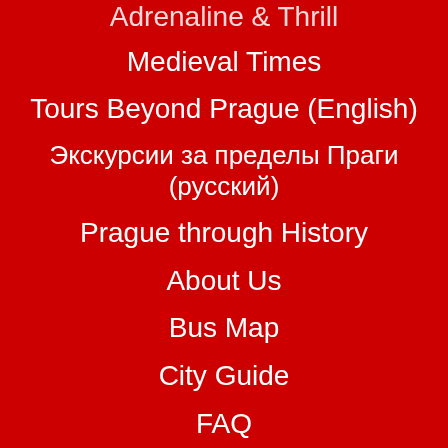Adrenaline & Thrill
Medieval Times
Tours Beyond Prague (English)
Экскурсии за пределы Праги (русский)
Prague through History
About Us
Bus Map
City Guide
FAQ
Groups
Travel Trade
Careers